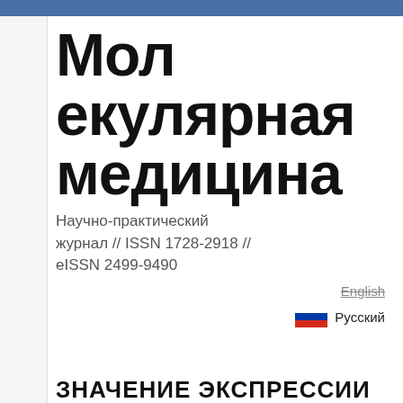Молекулярная медицина
Научно-практический журнал // ISSN 1728-2918 // eISSN 2499-9490
English
Русский
ЗНАЧЕНИЕ ЭКСПРЕССИИ